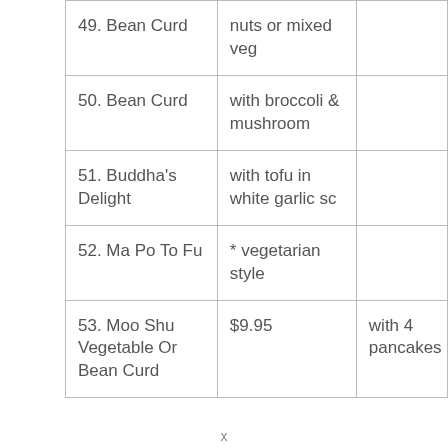| 49. Bean Curd | nuts or mixed veg |  |
| 50. Bean Curd | with broccoli & mushroom |  |
| 51. Buddha's Delight | with tofu in white garlic sc |  |
| 52. Ma Po To Fu | * vegetarian style |  |
| 53. Moo Shu Vegetable Or Bean Curd | $9.95 | with 4 pancakes |